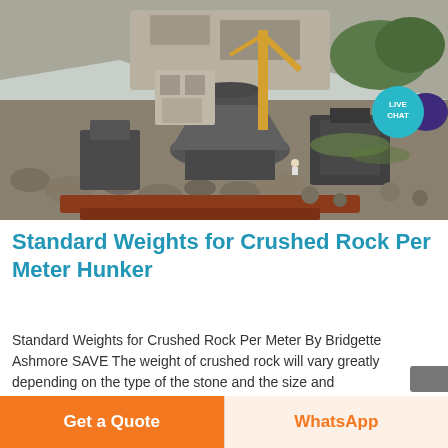[Figure (photo): Construction/quarry site with large industrial rock crushing machinery (grey cone crusher and jaw crusher components), a crane with yellow boom, rocky ground with stones and red wooden beams in foreground, hillside quarry in background]
[Figure (other): Live Chat badge: teal circular bubble with white text 'LIVE CHAT' and dark purple speech bubble icon to the right]
Standard Weights for Crushed Rock Per Meter Hunker
Standard Weights for Crushed Rock Per Meter By Bridgette Ashmore SAVE The weight of crushed rock will vary greatly depending on the type of the stone and the size and